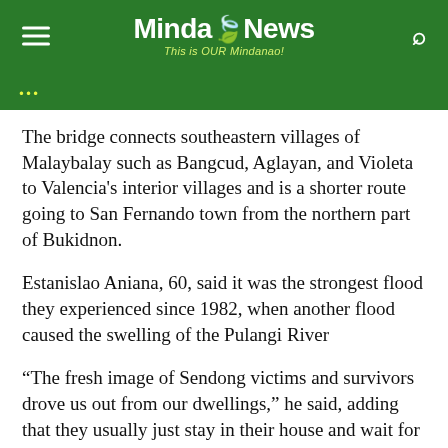MindaNews — This is OUR Mindanao!
The bridge connects southeastern villages of Malaybalay such as Bangcud, Aglayan, and Violeta to Valencia's interior villages and is a shorter route going to San Fernando town from the northern part of Bukidnon.
Estanislao Aniana, 60, said it was the strongest flood they experienced since 1982, when another flood caused the swelling of the Pulangi River
“The fresh image of Sendong victims and survivors drove us out from our dwellings,” he said, adding that they usually just stay in their house and wait for